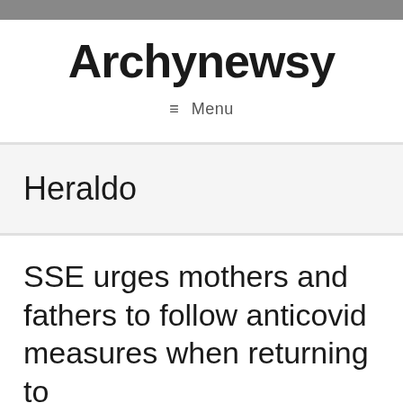Archynewsy
≡ Menu
Heraldo
SSE urges mothers and fathers to follow anticovid measures when returning to